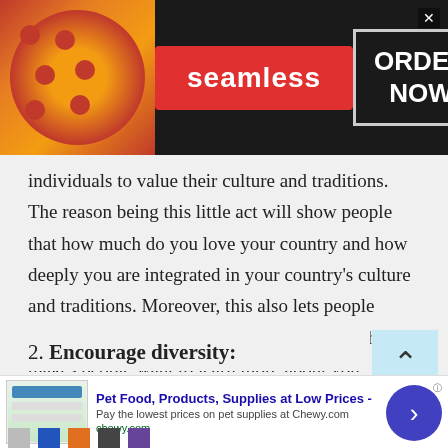[Figure (screenshot): Seamless food ordering advertisement banner with pizza image on left, red Seamless logo button in center, and ORDER NOW text in bordered box on right]
individuals to value their culture and traditions. The reason being this little act will show people that how much do you love your country and how deeply you are integrated in your country's culture and traditions. Moreover, this also lets people understand that you value your core value. This makes people want to learn more about you.
2. Encourage diversity:
Remember that, you are chatting with strangers
[Figure (screenshot): Chewy.com pet food advertisement bar with title 'Pet Food, Products, Supplies at Low Prices -', description 'Pay the lowest prices on pet supplies at Chewy.com', URL chewy.com, and a blue circular arrow button on the right]